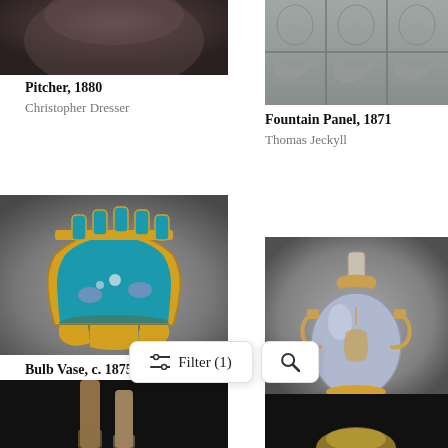[Figure (photo): Partial view of a dark ceramic pitcher from above, cropped at top of page]
Pitcher, 1880
Christopher Dresser
[Figure (photo): Fountain Panel with ornate relief carvings of plants and decorative motifs in gray/silver tones, 1871]
Fountain Panel, 1871
Thomas Jeckyll
[Figure (photo): Bulb Vase circa 1875, fan-shaped turquoise cloisonne vase with gold trim and bird/flower decoration on legs]
Bulb Vase, c. 1875
[Figure (photo): Bottle from 1878, pear-shaped lavender/gray ceramic bottle with gold handles and decorative motifs]
Bottle, 1878
[Figure (photo): Partial bottom view of two tall thin ceramic objects on dark background]
[Figure (photo): Partial bottom view of a ceramic piece on dark background]